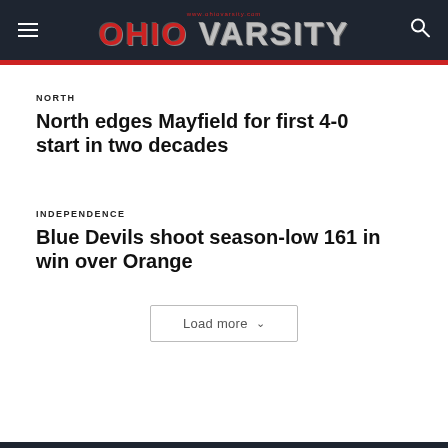Ohio Varsity - www.ohiovarsity.com
NORTH
North edges Mayfield for first 4-0 start in two decades
INDEPENDENCE
Blue Devils shoot season-low 161 in win over Orange